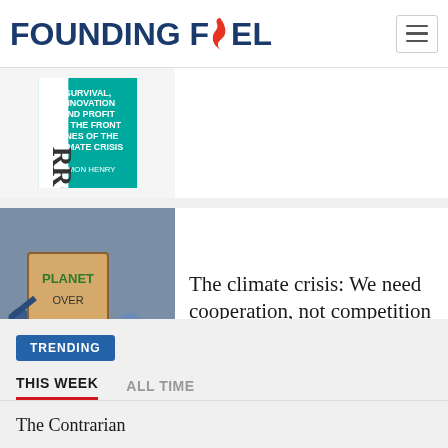FOUNDING FUEL
[Figure (photo): Book cover partially visible showing text 'RROW' and climate-related content]
[Figure (photo): Protest crowd with sign reading 'PLANET OVER PROFIT']
The climate crisis: We need cooperation, not competition
TRENDING
THIS WEEK
ALL TIME
The Contrarian